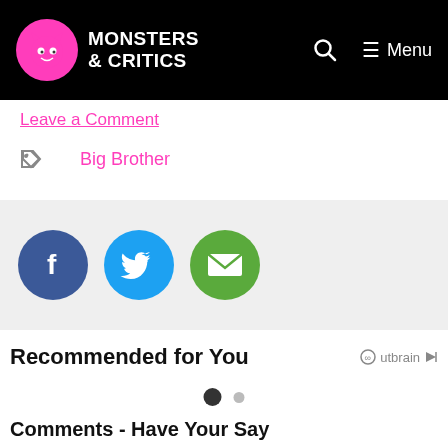Monsters & Critics
Leave a Comment
Big Brother
[Figure (infographic): Social share buttons: Facebook (blue circle with f), Twitter (cyan circle with bird), Email (green circle with envelope)]
Recommended for You
Comments - Have Your Say